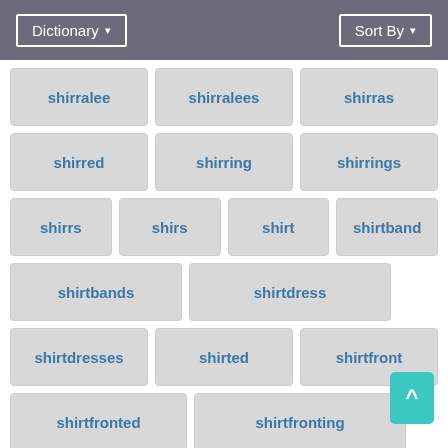Dictionary ▾   Sort By ▾
shirralee
shirralees
shirras
shirred
shirring
shirrings
shirrs
shirs
shirt
shirtband
shirtbands
shirtdress
shirtdresses
shirted
shirtfront
shirtfronted
shirtfronting